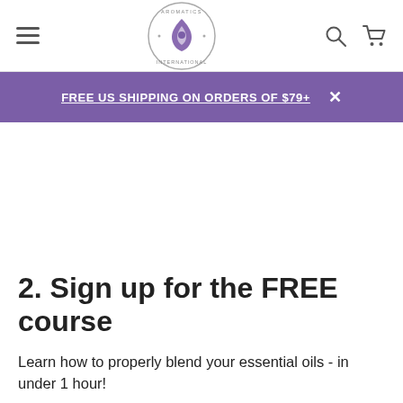Aromatics International — navigation header with hamburger menu, logo, search and cart icons
FREE US SHIPPING ON ORDERS OF $79+
2. Sign up for the FREE course
Learn how to properly blend your essential oils - in under 1 hour!